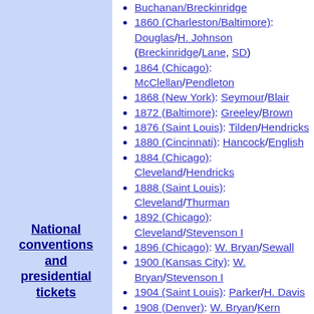National conventions and presidential tickets
1860 (Charleston/Baltimore): Douglas/H. Johnson (Breckinridge/Lane, SD)
1864 (Chicago): McClellan/Pendleton
1868 (New York): Seymour/Blair
1872 (Baltimore): Greeley/Brown
1876 (Saint Louis): Tilden/Hendricks
1880 (Cincinnati): Hancock/English
1884 (Chicago): Cleveland/Hendricks
1888 (Saint Louis): Cleveland/Thurman
1892 (Chicago): Cleveland/Stevenson I
1896 (Chicago): W. Bryan/Sewall
1900 (Kansas City): W. Bryan/Stevenson I
1904 (Saint Louis): Parker/H. Davis
1908 (Denver): W. Bryan/Kern
1912 (Baltimore): Wilson/Marshall
1916 (Saint Louis): Wilson/Marshall
1920 (San Francisco): Cox/Roosevelt
1924 (New York): J. Davis/C. Bryan
1928 (Houston): Smith/Robinson
1932 (Chicago): Roosevelt/Garner
1936 (Philadelphia): Roosevelt/Garner
1940 (Chicago): Roosevelt/Wallace
1944 (Chicago): Roosevelt/Truman
1948 (Philadelphia): Truman/Barkley